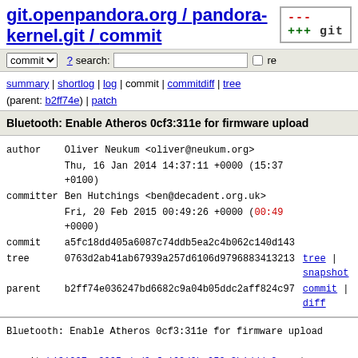git.openpandora.org / pandora-kernel.git / commit
commit | ? search: | re
summary | shortlog | log | commit | commitdiff | tree
(parent: b2ff74e) | patch
Bluetooth: Enable Atheros 0cf3:311e for firmware upload
| field | value | links |
| --- | --- | --- |
| author | Oliver Neukum <oliver@neukum.org> |  |
|  | Thu, 16 Jan 2014 14:37:11 +0000 (15:37 +0100) |  |
| committer | Ben Hutchings <ben@decadent.org.uk> |  |
|  | Fri, 20 Feb 2015 00:49:26 +0000 (00:49 +0000) |  |
| commit | a5fc18dd405a6087c74ddb5ea2c4b062c140d143 |  |
| tree | 0763d2ab41ab67939a257d6106d9796883413213 | tree | snapshot |
| parent | b2ff74e036247bd6682c9a04b05ddc2aff824c97 | commit | diff |
Bluetooth: Enable Atheros 0cf3:311e for firmware upload

commit b131237ca3995edad9efc162d0bc959c3b1dddc2 upstream.

The device will bind to btusb without firmware, but with the buggy firmware device discovery does not work. No devices ar